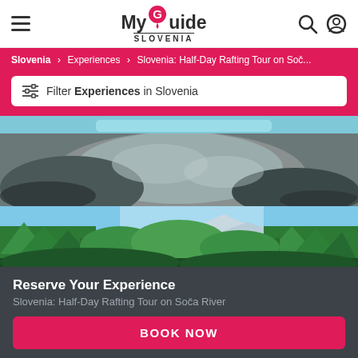My Guide Slovenia
Slovenia > Experiences > Slovenia: Half-Day Rafting Tour on Soč...
Filter Experiences in Slovenia
[Figure (photo): Rocky riverbed with turquoise water of the Soča River flowing between large grey rocks]
[Figure (photo): Lush green forest trees along the Soča River with blue sky visible above]
Reserve Your Experience
Slovenia: Half-Day Rafting Tour on Soča River
BOOK NOW